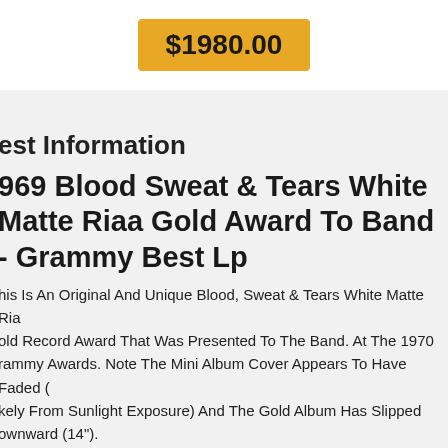[Figure (other): Price button showing $1980.00 in orange/gold color on white background]
est Information
969 Blood Sweat & Tears White Matte Riaa Gold Award To Band - Grammy Best Lp
his Is An Original And Unique Blood, Sweat & Tears White Matte Riaa Gold Record Award That Was Presented To The Band. At The 1970 Grammy Awards. Note The Mini Album Cover Appears To Have Faded (likely From Sunlight Exposure) And The Gold Album Has Slipped Downward (14").
% Off Shark Race-r Pro Carbon Aspv